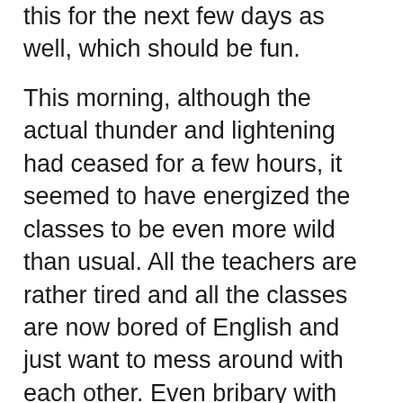this for the next few days as well, which should be fun.
This morning, although the actual thunder and lightening had ceased for a few hours, it seemed to have energized the classes to be even more wild than usual. All the teachers are rather tired and all the classes are now bored of English and just want to mess around with each other. Even bribary with sweets is no longer quite as effective. Ah well, adapt and improvise.
SUBSCRIBE TO BLOG VIA EMAIL
Enter your email address to subscribe to this blog and receive notifications of new posts by email.